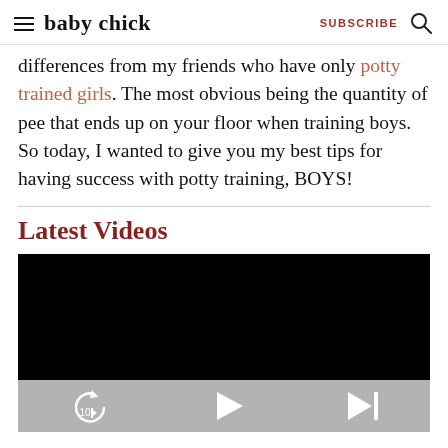baby chick | SUBSCRIBE
differences from my friends who have only potty trained girls. The most obvious being the quantity of pee that ends up on your floor when training boys. So today, I wanted to give you my best tips for having success with potty training, BOYS!
Latest Videos
[Figure (screenshot): Video player with black screen and gray playback controls showing rewind 10 seconds, play, and skip next buttons]